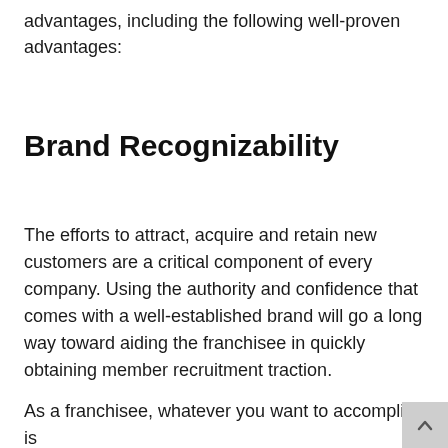advantages, including the following well-proven advantages:
Brand Recognizability
The efforts to attract, acquire and retain new customers are a critical component of every company. Using the authority and confidence that comes with a well-established brand will go a long way toward aiding the franchisee in quickly obtaining member recruitment traction.
As a franchisee, whatever you want to accomplish is